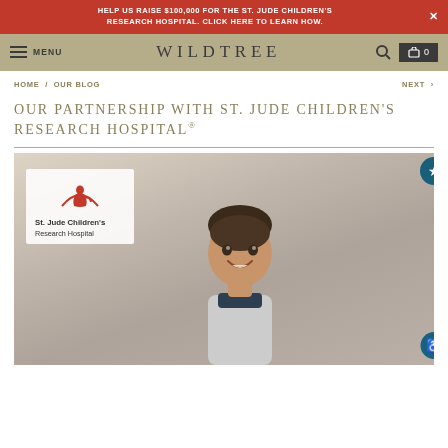HELP US RAISE $100,000 FOR THE ST. JUDE CHILDREN'S RESEARCH HOSPITAL. CLICK HERE TO LEARN HOW.
WILDTREE — MENU navigation, search, cart
HOME / OUR BLOG
NEXT >
OUR PARTNERSHIP WITH ST. JUDE CHILDREN'S RESEARCH HOSPITAL®
[Figure (photo): Photo of a smiling young child with the St. Jude Children's Research Hospital logo overlay in the top left corner of the image]